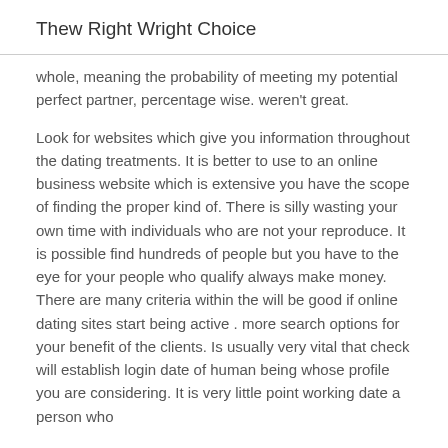Thew Right Wright Choice
whole, meaning the probability of meeting my potential perfect partner, percentage wise. weren't great.
Look for websites which give you information throughout the dating treatments. It is better to use to an online business website which is extensive you have the scope of finding the proper kind of. There is silly wasting your own time with individuals who are not your reproduce. It is possible find hundreds of people but you have to the eye for your people who qualify always make money. There are many criteria within the will be good if online dating sites start being active . more search options for your benefit of the clients. Is usually very vital that check will establish login date of human being whose profile you are considering. It is very little point working date a person who